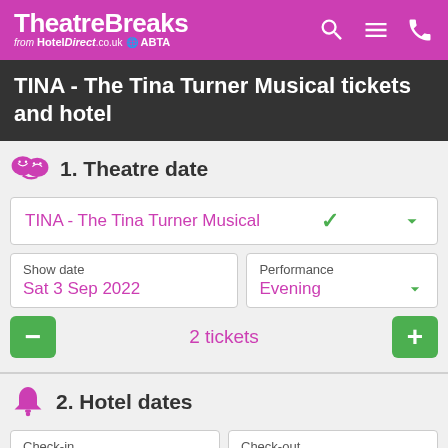TheatreBreaks from HotelDirect.co.uk ABTA
TINA - The Tina Turner Musical tickets and hotel
1. Theatre date
TINA - The Tina Turner Musical
Show date: Sat 3 Sep 2022
Performance: Evening
2 tickets
2. Hotel dates
Check-in: Sat 3 Sep 2022
Check-out: Sun 4 Sep 2022